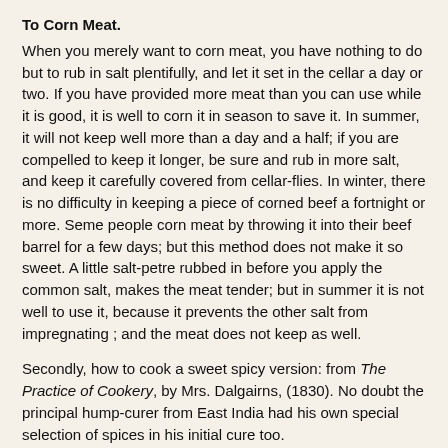To Corn Meat.
When you merely want to corn meat, you have nothing to do but to rub in salt plentifully, and let it set in the cellar a day or two. If you have provided more meat than you can use while it is good, it is well to corn it in season to save it. In summer, it will not keep well more than a day and a half; if you are compelled to keep it longer, be sure and rub in more salt, and keep it carefully covered from cellar-flies. In winter, there is no difficulty in keeping a piece of corned beef a fortnight or more. Seme people corn meat by throwing it into their beef barrel for a few days; but this method does not make it so sweet. A little salt-petre rubbed in before you apply the common salt, makes the meat tender; but in summer it is not well to use it, because it prevents the other salt from impregnating ; and the meat does not keep as well.
Secondly, how to cook a sweet spicy version: from The Practice of Cookery, by Mrs. Dalgairns, (1830). No doubt the principal hump-curer from East India had his own special selection of spices in his initial cure too.